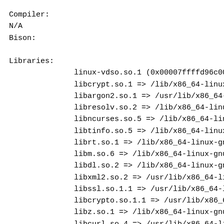Compiler:
N/A
Bison:
Libraries:
linux-vdso.so.1 (0x00007ffffd96c000
libcrypt.so.1 => /lib/x86_64-linux-
libargon2.so.1 => /usr/lib/x86_64-l
libresolv.so.2 => /lib/x86_64-linux
libncurses.so.5 => /lib/x86_64-linu
libtinfo.so.5 => /lib/x86_64-linux-
librt.so.1 => /lib/x86_64-linux-gnu
libm.so.6 => /lib/x86_64-linux-gnu/
libdl.so.2 => /lib/x86_64-linux-gnu
libxml2.so.2 => /usr/lib/x86_64-lin
libssl.so.1.1 => /usr/lib/x86_64-li
libcrypto.so.1.1 => /usr/lib/x86_64
libz.so.1 => /lib/x86_64-linux-gnu/
libcurl.so.4 => /usr/lib/x86_64-li